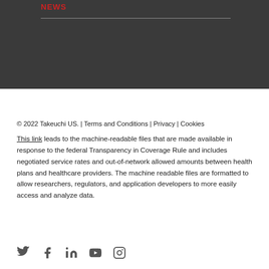News
© 2022 Takeuchi US. | Terms and Conditions | Privacy | Cookies
This link leads to the machine-readable files that are made available in response to the federal Transparency in Coverage Rule and includes negotiated service rates and out-of-network allowed amounts between health plans and healthcare providers. The machine readable files are formatted to allow researchers, regulators, and application developers to more easily access and analyze data.
[Figure (other): Social media icons: Twitter, Facebook, LinkedIn, YouTube, Instagram]